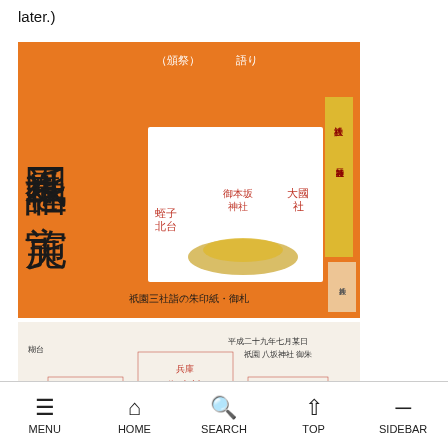later.)
[Figure (photo): Orange promotional poster for Gion Sanja Mairi with Japanese text and an image of stamps/goshuin-cho and ofuda (shrine amulets). Text reads 祇園三社詣の朱印紙・御札]
[Figure (photo): Close-up photo of goshuin (red ink shrine stamps) on white paper, showing stamps from multiple shrines including 御本社, 大國社, and 蛭子社]
MENU  HOME  SEARCH  TOP  SIDEBAR